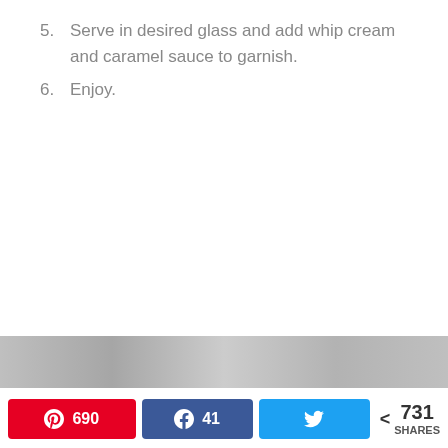5. Serve in desired glass and add whip cream and caramel sauce to garnish.
6. Enjoy.
[Figure (photo): Blurred/partial photo strip at bottom of page]
690 Pinterest shares, 41 Facebook shares, Twitter share button, 731 SHARES total